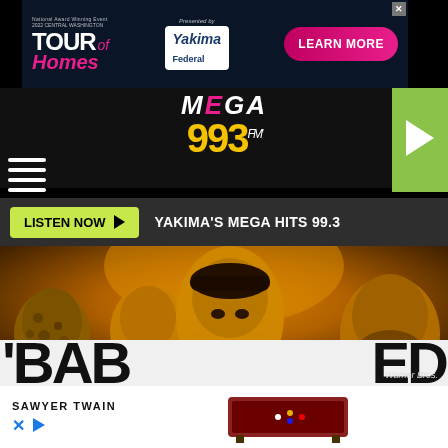[Figure (screenshot): Top advertisement banner for Tour of Homes presented by Yakima Federal with Learn More button]
[Figure (logo): MEGA 99.3 FM radio station logo in white, pink and yellow]
[Figure (other): Green play button square in top right corner]
[Figure (other): Hamburger menu icon (three white lines) on left side]
LISTEN NOW
YAKIMA'S MEGA HITS 99.3
[Figure (photo): Movie promotional image with four faces on golden/amber background, Warner Bros. credit bottom right]
Warner Bros.
[Figure (screenshot): Bottom advertisement for Sawyer Twain with pool table image]
'BAB... ...ED